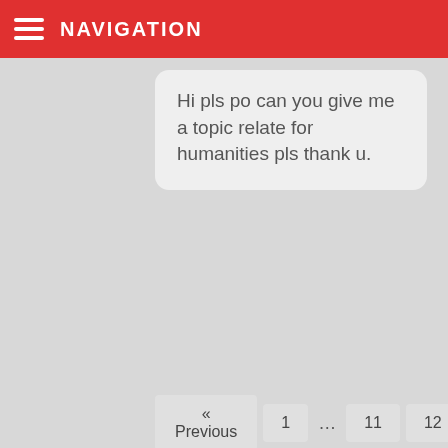NAVIGATION
Hi pls po can you give me a topic relate for humanities pls thank u.
« Previous  1  …  11  12  13
Leave a Reply to Kris Wolvenpads
Cancel reply
Your email address will not be published. Required fields are marked *